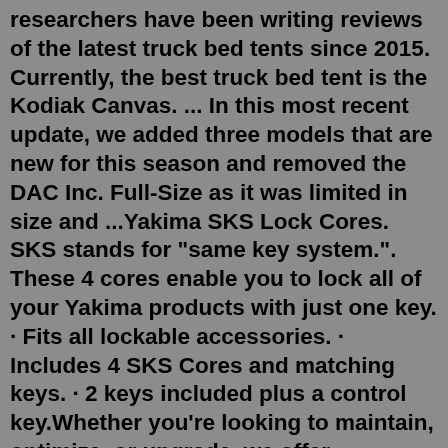researchers have been writing reviews of the latest truck bed tents since 2015. Currently, the best truck bed tent is the Kodiak Canvas. ... In this most recent update, we added three models that are new for this season and removed the DAC Inc. Full-Size as it was limited in size and ...Yakima SKS Lock Cores. SKS stands for "same key system.". These 4 cores enable you to lock all of your Yakima products with just one key. · Fits all lockable accessories. · Includes 4 SKS Cores and matching keys. · 2 keys included plus a control key.Whether you're looking to maintain, optimize, or upgrade, we offer competitive pricing on Napier Sportz Cove Tent - Small/Mid Size - 61000 for your Truck or Jeep at 4 Wheel Parts. With our selection of quality brands and expert advice, we help boost your vehicle's performance and make a statement on or off the road.May 30, 2022 · Kodiak Canvas Truck Bed Tent – Best For Strength and Versatility. 3.3 3. Napier Backroadz Truck Tent – Best For Those Looking For Affordable Products. 3.4 4. Rightline Gear 110766 5 Feet Short Truck Tent – Best